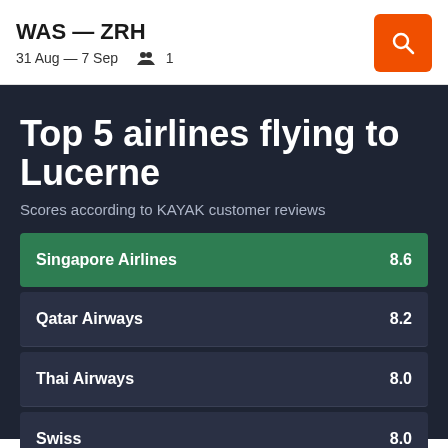WAS — ZRH
31 Aug — 7 Sep  1
Top 5 airlines flying to Lucerne
Scores according to KAYAK customer reviews
[Figure (bar-chart): Top 5 airlines flying to Lucerne]